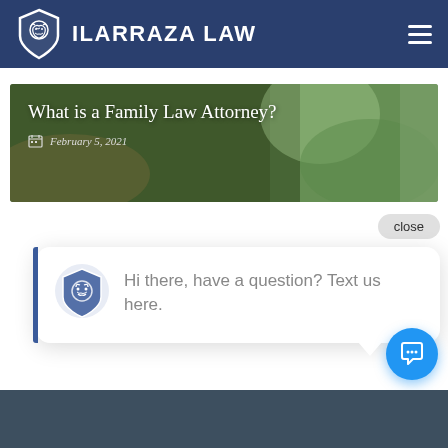ILARRAZA LAW
[Figure (screenshot): Blog post banner image with green/dark background showing article title 'What is a Family Law Attorney?' and date February 5, 2021]
What is a Family Law Attorney?
February 5, 2021
close
Hi there, have a question? Text us here.